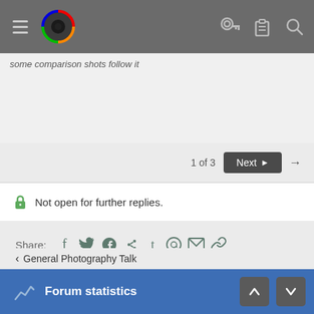Navigation header with hamburger menu, logo, and icons (key, clipboard, search)
some comparison shots follow it
1 of 3  Next →
🔒 Not open for further replies.
Share: Facebook Twitter Reddit Pinterest Tumblr WhatsApp Email Link
‹ General Photography Talk
Forum statistics